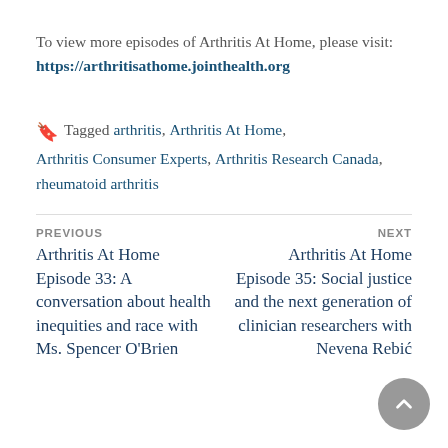To view more episodes of Arthritis At Home, please visit: https://arthritisathome.jointhealth.org
Tagged arthritis, Arthritis At Home, Arthritis Consumer Experts, Arthritis Research Canada, rheumatoid arthritis
PREVIOUS: Arthritis At Home Episode 33: A conversation about health inequities and race with Ms. Spencer O'Brien
NEXT: Arthritis At Home Episode 35: Social justice and the next generation of clinician researchers with Nevena Rebić